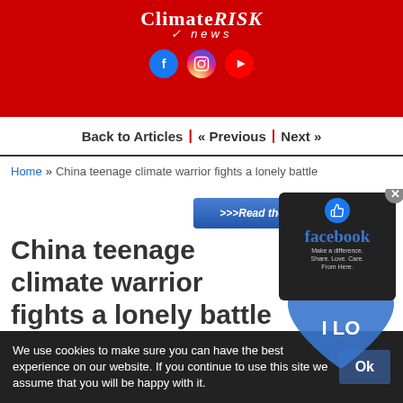ClimateRISK News
Back to Articles | « Previous | Next »
Home » China teenage climate warrior fights a lonely battle
>>>Read the Full Article
China teenage climate warrior fights a lonely battle
We use cookies to make sure you can have the best experience on our website. If you continue to use this site we assume that you will be happy with it.